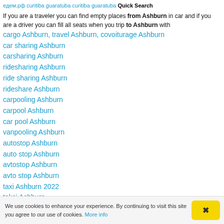едем.рф curitiba guaratuba curitiba guaratuba Quick Search
If you are a traveler you can find empty places from Ashburn in car and if you are a driver you can fill all seats when you trip to Ashburn with
cargo Ashburn, travel Ashburn, covoiturage Ashburn
car sharing Ashburn
carsharing Ashburn
ridesharing Ashburn
ride sharing Ashburn
rideshare Ashburn
carpooling Ashburn
carpool Ashburn
car pool Ashburn
vanpooling Ashburn
autostop Ashburn
auto stop Ashburn
avtostop Ashburn
avto stop Ashburn
taxi Ashburn 2022
taksi Ashburn
We use cookies to enhance your experience. By continuing to visit this site you agree to our use of cookies. More info